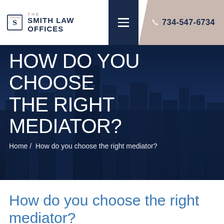THE SMITH LAW OFFICES | 734-547-6734
[Figure (screenshot): Law firm website header with logo, hamburger menu button, and phone number on a beige/pink background]
HOW DO YOU CHOOSE THE RIGHT MEDIATOR?
Home / How do you choose the right mediator?
How do you choose the right mediator?